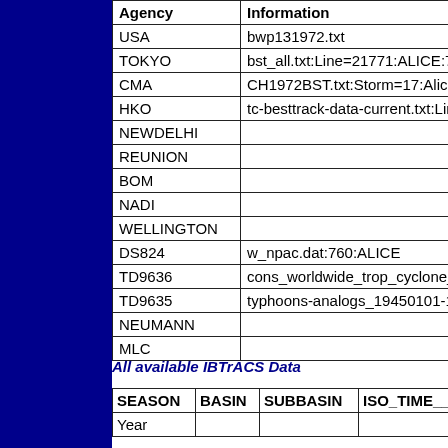| Agency | Information |
| --- | --- |
| USA | bwp131972.txt |
| TOKYO | bst_all.txt:Line=21771:ALICE:72 |
| CMA | CH1972BST.txt:Storm=17:Alice |
| HKO | tc-besttrack-data-current.txt:Line |
| NEWDELHI |  |
| REUNION |  |
| BOM |  |
| NADI |  |
| WELLINGTON |  |
| DS824 | w_npac.dat:760:ALICE |
| TD9636 | cons_worldwide_trop_cyclone_1 |
| TD9635 | typhoons-analogs_19450101-19 |
| NEUMANN |  |
| MLC |  |
All available IBTrACS Data
| SEASON | BASIN | SUBBASIN | ISO_TIME__ |
| --- | --- | --- | --- |
| Year |  |  |  |